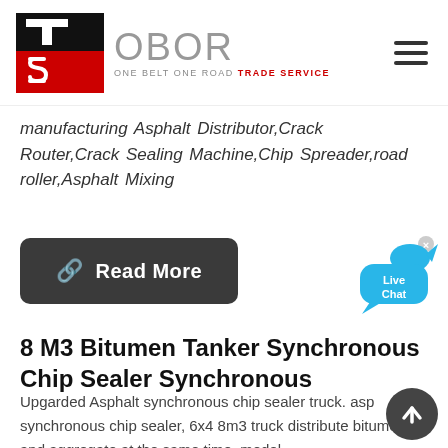[Figure (logo): OBOR (One Belt One Road Trade Service) logo with red and black stylized TS emblem]
manufacturing Asphalt Distributor,Crack Router,Crack Sealing Machine,Chip Spreader,road roller,Asphalt Mixing
Read More
[Figure (illustration): Live Chat bubble icon in blue]
8 M3 Bitumen Tanker Synchronous Chip Sealer Synchronous
Upgarded Asphalt synchronous chip sealer truck. asphalt synchronous chip sealer, 6x4 8m3 truck distribute bitumen and aggregate at the same time, model